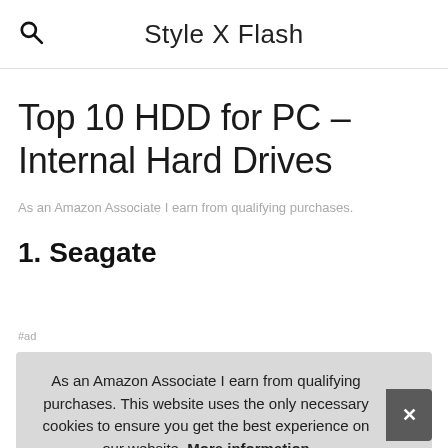Style X Flash
Top 10 HDD for PC – Internal Hard Drives
As an Amazon Associate I earn from qualifying purchases.
1. Seagate
#ad
As an Amazon Associate I earn from qualifying purchases. This website uses the only necessary cookies to ensure you get the best experience on our website. More information